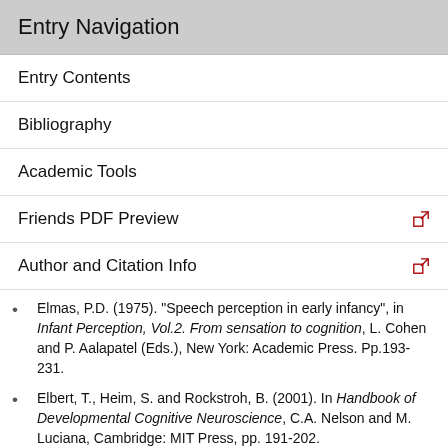Entry Navigation
Entry Contents
Bibliography
Academic Tools
Friends PDF Preview
Author and Citation Info
Elmas, P.D. (1975). "Speech perception in early infancy", in Infant Perception, Vol.2. From sensation to cognition, L. Cohen and P. Aalapatel (Eds.), New York: Academic Press. Pp.193-231.
Elbert, T., Heim, S. and Rockstroh, B. (2001). In Handbook of Developmental Cognitive Neuroscience, C.A. Nelson and M. Luciana, Cambridge: MIT Press, pp. 191-202.
Elman, J.L., Bates, E.A., Johnson, M.H., Karmiloff-Smith, A., Parisi, D. and Plunkett, K. (1996). Rethinking Innateness: A Connectionist Perspective